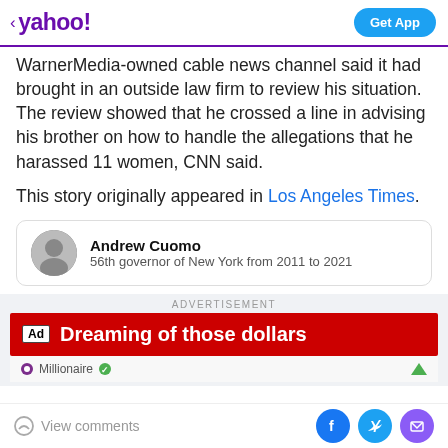< yahoo! | Get App
WarnerMedia-owned cable news channel said it had brought in an outside law firm to review his situation. The review showed that he crossed a line in advising his brother on how to handle the allegations that he harassed 11 women, CNN said.
This story originally appeared in Los Angeles Times.
[Figure (other): Person card showing Andrew Cuomo with circular avatar photo, bold name, and description '56th governor of New York from 2011 to 2021']
ADVERTISEMENT
[Figure (other): Advertisement banner: Ad tag followed by 'Dreaming of those dollars' in white text on red background, with Millionaire logo below]
View comments | Facebook share | Twitter share | Email share